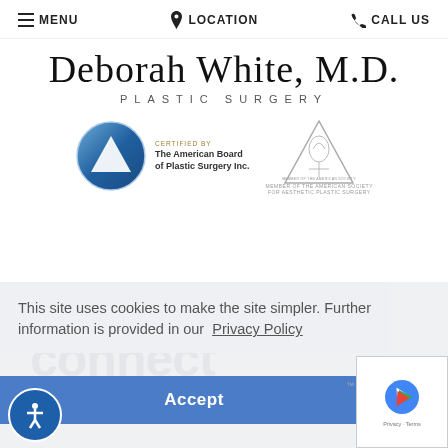☰ MENU   📍 LOCATION   📞 CALL US
Deborah White, M.D.
PLASTIC SURGERY
[Figure (logo): American Board of Plastic Surgery Inc. certified badge with circular blue logo and arrow, and text: CERTIFIED BY The American Board of Plastic Surgery Inc.]
[Figure (logo): Member of the American Society for Aesthetic Plastic Surgery badge with triangle/pyramid and Nefertiti figure]
This site uses cookies to make the site simpler. Further information is provided in our Privacy Policy
Accept